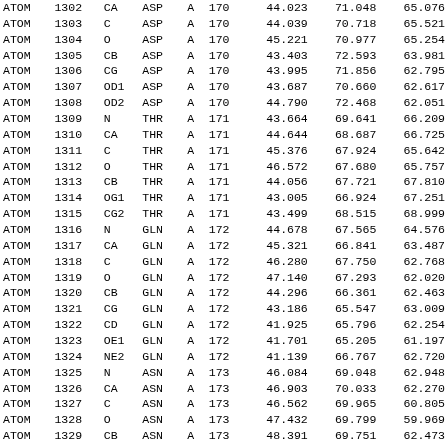| rectype | serial | name | resname | chain | resseq | x | y | z |
| --- | --- | --- | --- | --- | --- | --- | --- | --- |
| ATOM | 1302 | CA | ASP | A | 170 | 44.023 | 71.048 | 65.076 |
| ATOM | 1303 | C | ASP | A | 170 | 44.039 | 70.718 | 65.521 |
| ATOM | 1304 | O | ASP | A | 170 | 45.221 | 70.977 | 65.254 |
| ATOM | 1305 | CB | ASP | A | 170 | 43.403 | 72.593 | 63.981 |
| ATOM | 1306 | CG | ASP | A | 170 | 43.995 | 71.856 | 62.795 |
| ATOM | 1307 | OD1 | ASP | A | 170 | 43.687 | 70.660 | 62.617 |
| ATOM | 1308 | OD2 | ASP | A | 170 | 44.790 | 72.468 | 62.051 |
| ATOM | 1309 | N | THR | A | 171 | 43.664 | 69.641 | 66.209 |
| ATOM | 1310 | CA | THR | A | 171 | 44.644 | 68.687 | 66.725 |
| ATOM | 1311 | C | THR | A | 171 | 45.376 | 67.924 | 65.642 |
| ATOM | 1312 | O | THR | A | 171 | 46.572 | 67.680 | 65.757 |
| ATOM | 1313 | CB | THR | A | 171 | 44.056 | 67.721 | 67.810 |
| ATOM | 1314 | OG1 | THR | A | 171 | 43.005 | 66.924 | 67.251 |
| ATOM | 1315 | CG2 | THR | A | 171 | 43.499 | 68.515 | 68.999 |
| ATOM | 1316 | N | GLN | A | 172 | 44.678 | 67.565 | 64.576 |
| ATOM | 1317 | CA | GLN | A | 172 | 45.321 | 66.841 | 63.487 |
| ATOM | 1318 | C | GLN | A | 172 | 46.280 | 67.750 | 62.768 |
| ATOM | 1319 | O | GLN | A | 172 | 47.140 | 67.293 | 62.020 |
| ATOM | 1320 | CB | GLN | A | 172 | 44.296 | 66.361 | 62.463 |
| ATOM | 1321 | CG | GLN | A | 172 | 43.186 | 65.547 | 63.009 |
| ATOM | 1322 | CD | GLN | A | 172 | 41.925 | 65.796 | 62.254 |
| ATOM | 1323 | OE1 | GLN | A | 172 | 41.701 | 65.205 | 61.197 |
| ATOM | 1324 | NE2 | GLN | A | 172 | 41.139 | 66.767 | 62.720 |
| ATOM | 1325 | N | ASN | A | 173 | 46.084 | 69.048 | 62.948 |
| ATOM | 1326 | CA | ASN | A | 173 | 46.903 | 70.033 | 62.270 |
| ATOM | 1327 | C | ASN | A | 173 | 46.562 | 69.965 | 60.805 |
| ATOM | 1328 | O | ASN | A | 173 | 47.432 | 69.799 | 59.969 |
| ATOM | 1329 | CB | ASN | A | 173 | 48.391 | 69.751 | 62.473 |
| ATOM | 1330 | CG | ASN | A | 173 | 49.127 | 70.938 | 63.018 |
| ATOM | 1331 | OD1 | ASN | A | 173 | 49.166 | 71.145 | 64.230 |
| ATOM | 1332 | ND2 | ASN | A | 173 | 49.652 | 71.777 | 62.124 |